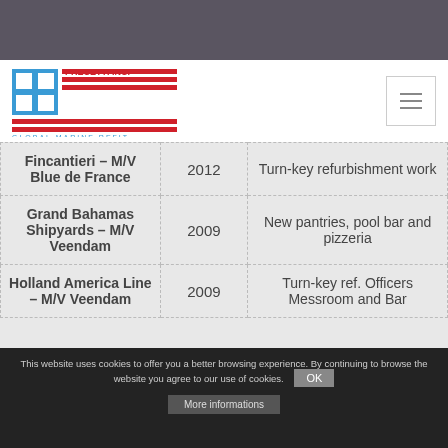PRECETTI INC. GLOBAL MARINE REFIT
|  |  |  |
| --- | --- | --- |
| Fincantieri – M/V Blue de France | 2012 | Turn-key refurbishment work |
| Grand Bahamas Shipyards – M/V Veendam | 2009 | New pantries, pool bar and pizzeria |
| Holland America Line – M/V Veendam | 2009 | Turn-key ref. Officers Messroom and Bar |
This website uses cookies to offer you a better browsing experience. By continuing to browse the website you agree to our use of cookies. OK More informations